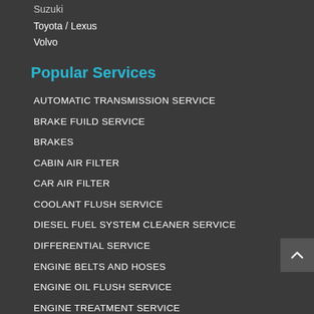Suzuki
Toyota / Lexus
Volvo
Popular Services
AUTOMATIC TRANSMISSION SERVICE
BRAKE FUILD SERVICE
BRAKES
CABIN AIR FILTER
CAR AIR FILTER
COOLANT FLUSH SERVICE
DIESEL FUEL SYSTEM CLEANER SERVICE
DIFFERENTIAL SERVICE
ENGINE BELTS AND HOSES
ENGINE OIL FLUSH SERVICE
ENGINE TREATMENT SERVICE
EXHAUST
MINOR FUEL SYSTEM CLEANING